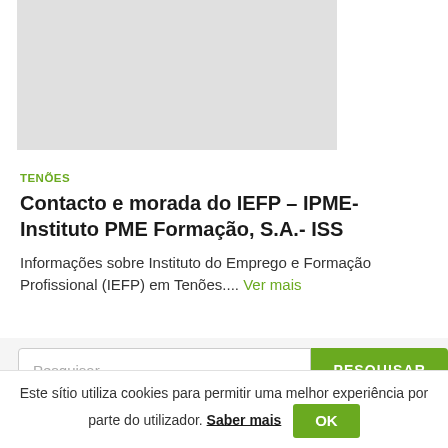[Figure (photo): Gray placeholder image area at top of page]
TENÕES
Contacto e morada do IEFP – IPME-Instituto PME Formação, S.A.- ISS
Informações sobre Instituto do Emprego e Formação Profissional (IEFP) em Tenões.... Ver mais
Pesquisar ...
PESQUISAR
Este sítio utiliza cookies para permitir uma melhor experiência por parte do utilizador. Saber mais OK